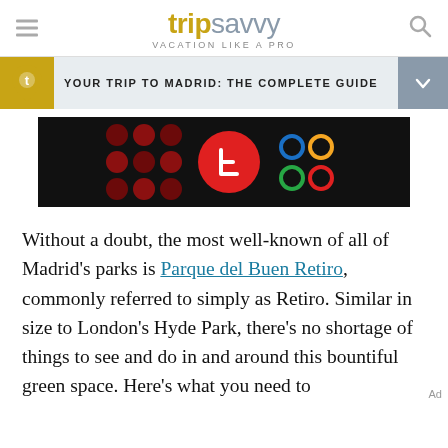tripsavvy VACATION LIKE A PRO
YOUR TRIP TO MADRID: THE COMPLETE GUIDE
[Figure (photo): Advertisement banner with dark background showing colorful circular dot patterns, a red circular logo with white design, and Olympic-style interlocking rings in multiple colors]
Without a doubt, the most well-known of all of Madrid’s parks is Parque del Buen Retiro, commonly referred to simply as Retiro. Similar in size to London’s Hyde Park, there’s no shortage of things to see and do in and around this bountiful green space. Here’s what you need to